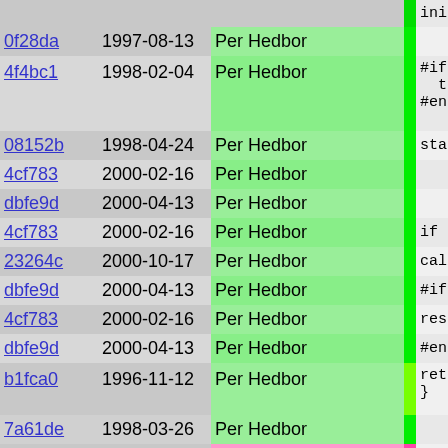| hash | date | author |  | code |
| --- | --- | --- | --- | --- |
|  |  |  |  | init( |
| 0f28da | 1997-08-13 | Per Hedbor |  |  |
| 4f4bc1 | 1998-02-04 | Per Hedbor |  | #ifdef __R
  trace(1)
#endif |
| 08152b | 1998-04-24 | Per Hedbor |  | start_ti |
| 4cf783 | 2000-02-16 | Per Hedbor |  |  |
| dbfe9d | 2000-04-13 | Per Hedbor |  |  |
| 4cf783 | 2000-02-16 | Per Hedbor |  | if (QUER |
| 23264c | 2000-10-17 | Per Hedbor |  | call_o |
| dbfe9d | 2000-04-13 | Per Hedbor |  | #ifndef __ |
| 4cf783 | 2000-02-16 | Per Hedbor |  | restart_ |
| dbfe9d | 2000-04-13 | Per Hedbor |  | #endif |
| b1fca0 | 1996-11-12 | Per Hedbor |  | return -
} |
| 7a61de | 1998-03-26 | Per Hedbor |  |  |
| a6ef1f | 2000-03-28 | Johan Sundström |  | // Called |
| ee8b20 | 1998-07-13 | David Hedbor |  | string che |
| edc9af | 1998-07-11 | David Hedbor |  | {
  switch(n |